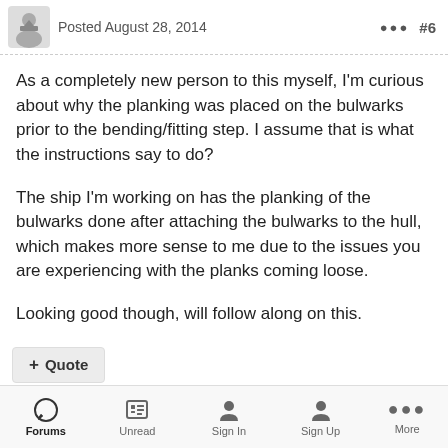Posted August 28, 2014  ··· #6
As a completely new person to this myself, I'm curious about why the planking was placed on the bulwarks prior to the bending/fitting step.  I assume that is what the instructions say to do?
The ship I'm working on has the planking of the bulwarks done after attaching the bulwarks to the hull, which makes more sense to me due to the issues you are experiencing with the planks coming loose.
Looking good though, will follow along on this.
Forums  Unread  Sign In  Sign Up  More